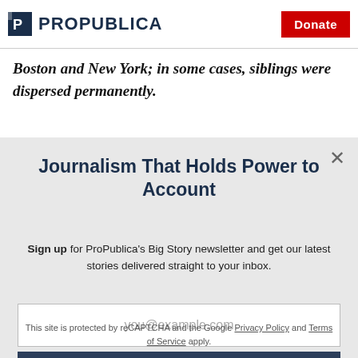ProPublica | Donate
Boston and New York; in some cases, siblings were dispersed permanently.
Journalism That Holds Power to Account
Sign up for ProPublica's Big Story newsletter and get our latest stories delivered straight to your inbox.
you@example.com
Get the Newsletter
No thanks, I'm all set
This site is protected by reCAPTCHA and the Google Privacy Policy and Terms of Service apply.